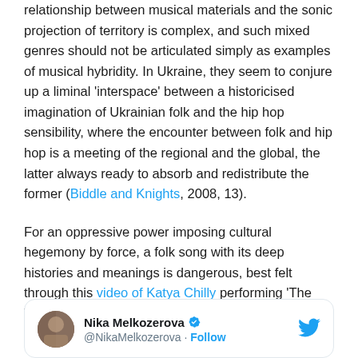relationship between musical materials and the sonic projection of territory is complex, and such mixed genres should not be articulated simply as examples of musical hybridity. In Ukraine, they seem to conjure up a liminal 'interspace' between a historicised imagination of Ukrainian folk and the hip hop sensibility, where the encounter between folk and hip hop is a meeting of the regional and the global, the latter always ready to absorb and redistribute the former (Biddle and Knights, 2008, 13).
For an oppressive power imposing cultural hegemony by force, a folk song with its deep histories and meanings is dangerous, best felt through this video of Katya Chilly performing 'The Willow Board' in Kyiv.
[Figure (screenshot): Twitter/X card showing Nika Melkozerova's profile with avatar, verified checkmark, @NikaMelkozerova handle, Follow link, and Twitter bird logo]